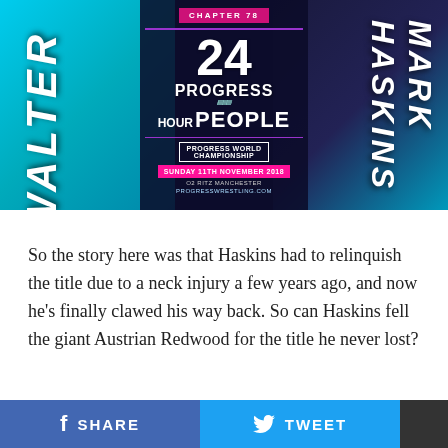[Figure (photo): PROGRESS Wrestling event poster for Chapter 78: 24 Hour People. Shows WALTER on the left side with a blue diagonal sash, Mark Haskins on the right side, and a woman in the center background. Text reads: CHAPTER 78, 24 PROGRESS HOUR PEOPLE, PROGRESS WORLD CHAMPIONSHIP, SUNDAY 11TH NOVEMBER 2018, O2 RITZ MANCHESTER, PROGRESSWRESTLING.COM]
So the story here was that Haskins had to relinquish the title due to a neck injury a few years ago, and now he’s finally clawed his way back. So can Haskins fell the giant Austrian Redwood for the title he never lost?
SHARE   TWEET